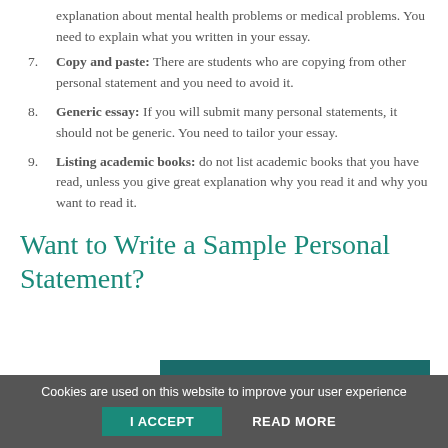explanation about mental health problems or medical problems. You need to explain what you written in your essay.
Copy and paste: There are students who are copying from other personal statement and you need to avoid it.
Generic essay: If you will submit many personal statements, it should not be generic. You need to tailor your essay.
Listing academic books: do not list academic books that you have read, unless you give great explanation why you read it and why you want to read it.
Want to Write a Sample Personal Statement?
The process
[Figure (logo): American Medical College Application Service (AMCAS) logo on dark teal background with caduceus symbol]
Cookies are used on this website to improve your user experience
I ACCEPT   READ MORE